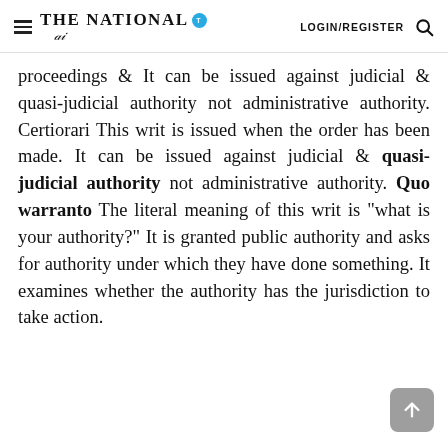The National | LOGIN/REGISTER
proceedings & It can be issued against judicial & quasi-judicial authority not administrative authority. Certiorari This writ is issued when the order has been made. It can be issued against judicial & quasi-judicial authority not administrative authority. Quo warranto The literal meaning of this writ is "what is your authority?" It is granted public authority and asks for authority under which they have done something. It examines whether the authority has the jurisdiction to take action.